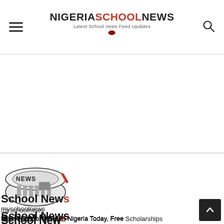NIGERIASCHOOLNEWS — Latest School news Feed Updates
[Figure (illustration): Rolled newspaper illustration with 'NEWS' text on it]
School News
myschoolnews
Latest School News In Nigeria Today, Free Scholarships